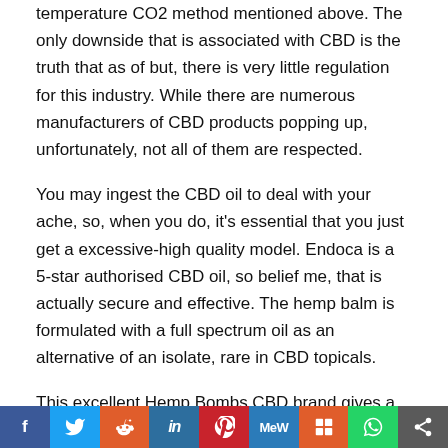temperature CO2 method mentioned above. The only downside that is associated with CBD is the truth that as of but, there is very little regulation for this industry. While there are numerous manufacturers of CBD products popping up, unfortunately, not all of them are respected.
You may ingest the CBD oil to deal with your ache, so, when you do, it's essential that you just get a excessive-high quality model. Endoca is a 5-star authorised CBD oil, so belief me, that is actually secure and effective. The hemp balm is formulated with a full spectrum oil as an alternative of an isolate, rare in CBD topicals.
This excellent Hemp Bombs CBD brand gives a broad range of high quality CBD merchandise. Their merchandise are
[Figure (other): Social sharing bar with icons for Facebook, Twitter, Reddit, LinkedIn, Pinterest, MeWe, Mix, WhatsApp, and share button]